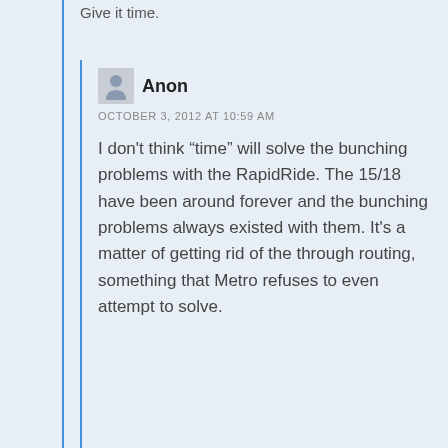Give it time.
Anon
OCTOBER 3, 2012 AT 10:59 AM
I don't think “time” will solve the bunching problems with the RapidRide. The 15/18 have been around forever and the bunching problems always existed with them. It’s a matter of getting rid of the through routing, something that Metro refuses to even attempt to solve.